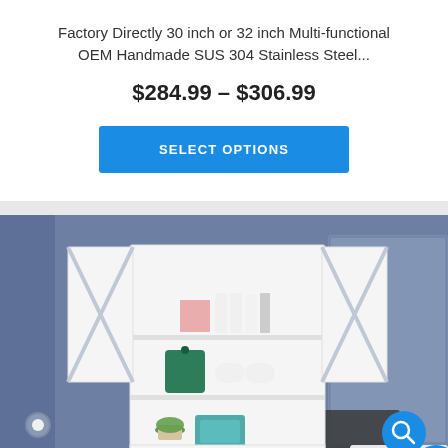Factory Directly 30 inch or 32 inch Multi-functional OEM Handmade SUS 304 Stainless Steel...
$284.99 – $306.99
SELECT OPTIONS
[Figure (photo): White wall-mounted bathroom cabinet with open doors revealing shelves with toiletries, towels, and a small plant, set against a blue-grey bathroom wall]